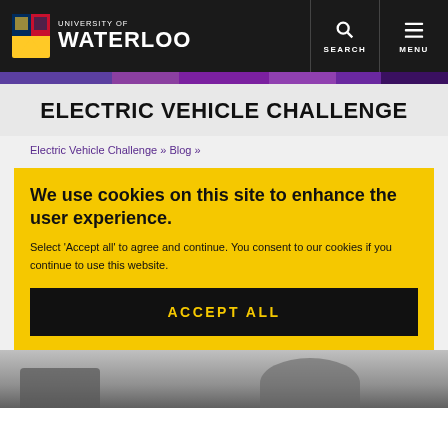[Figure (logo): University of Waterloo logo with shield crest and white text on black background, alongside Search and Menu navigation buttons]
[Figure (other): Purple gradient stripe decorative header bar]
ELECTRIC VEHICLE CHALLENGE
Electric Vehicle Challenge » Blog »
We use cookies on this site to enhance the user experience.
Select 'Accept all' to agree and continue. You consent to our cookies if you continue to use this website.
ACCEPT ALL
[Figure (photo): Partial photo of electric vehicle components at the bottom of the page, partially obscured by cookie overlay]